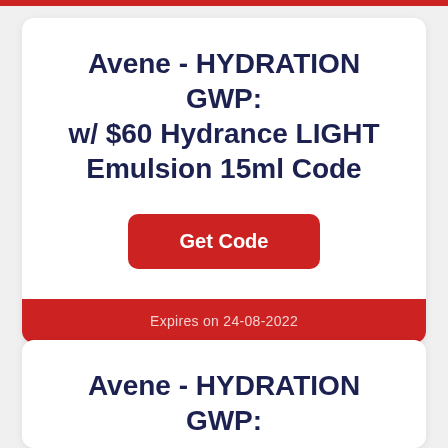Avene - HYDRATION GWP: w/ $60 Hydrance LIGHT Emulsion 15ml Code
Get Code
Expires on 24-08-2022
Avene - HYDRATION GWP: